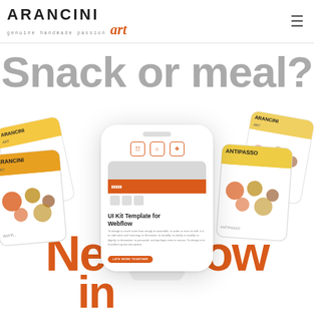[Figure (logo): ARANCINI art logo with tagline 'genuine handmade passion']
Snack or meal?
[Figure (screenshot): 3D hand holding a phone mockup showing a UI Kit Template for Webflow app, surrounded by Arancini food product packages in the background]
UI Kit Template for Webflow
To design is much more than simply to assemble, to order or even to edit: it is to add value and meaning, to illuminate, to simplify, to clarify, to modify, to dignify, to dramatize, to persuade, and perhaps even to amuse. To design is to transform prose into poetry.
LETS WORK TOGETHER
New flow in